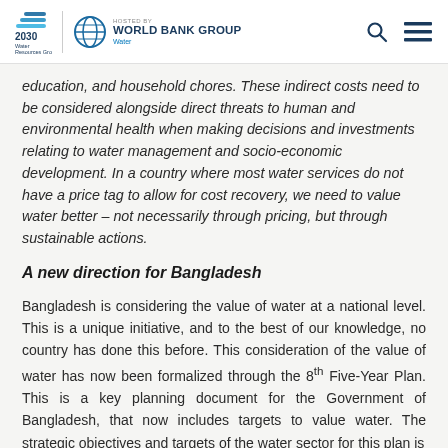2030 Water Resources Group | HOSTED BY WORLD BANK GROUP Water
education, and household chores. These indirect costs need to be considered alongside direct threats to human and environmental health when making decisions and investments relating to water management and socio-economic development. In a country where most water services do not have a price tag to allow for cost recovery, we need to value water better – not necessarily through pricing, but through sustainable actions.
A new direction for Bangladesh
Bangladesh is considering the value of water at a national level. This is a unique initiative, and to the best of our knowledge, no country has done this before. This consideration of the value of water has now been formalized through the 8th Five-Year Plan. This is a key planning document for the Government of Bangladesh, that now includes targets to value water. The strategic objectives and targets of the water sector for this plan is